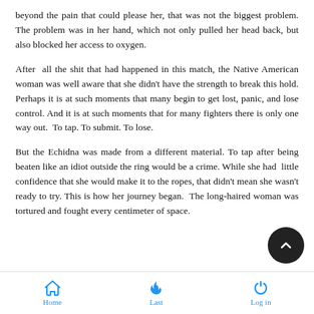beyond the pain that could please her, that was not the biggest problem. The problem was in her hand, which not only pulled her head back, but also blocked her access to oxygen.
After all the shit that had happened in this match, the Native American woman was well aware that she didn't have the strength to break this hold. Perhaps it is at such moments that many begin to get lost, panic, and lose control. And it is at such moments that for many fighters there is only one way out. To tap. To submit. To lose.
But the Echidna was made from a different material. To tap after being beaten like an idiot outside the ring would be a crime. While she had little confidence that she would make it to the ropes, that didn't mean she wasn't ready to try. This is how her journey began. The long-haired woman was tortured and fought every centimeter of space.
Home  Last  Log in